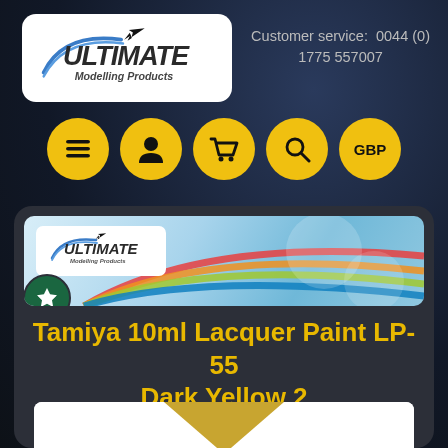[Figure (logo): Ultimate Modelling Products logo - white rounded rectangle with stylized text and aircraft silhouette]
Customer service:  0044 (0)
1775 557007
[Figure (infographic): Five yellow circular navigation buttons: hamburger menu, user/person icon, shopping cart icon, search/magnifying glass icon, and GBP currency label]
[Figure (screenshot): Ultimate Modelling Products colorful banner with logo and swirling colored arcs on blue/cyan background with circular light effects]
Tamiya 10ml Lacquer Paint LP-55 Dark Yellow 2
[Figure (photo): Product image showing a partial triangular/pyramid shape in dark yellow/gold color against white background - paint tin top visible]